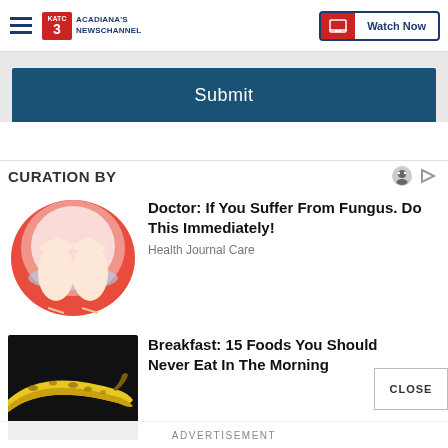ACADIANA'S NEWSCHANNEL | Watch Now
Submit
CURATION BY
[Figure (illustration): Illustration of two feet soaking in a red bowl of water]
Doctor: If You Suffer From Fungus. Do This Immediately!
Health Journal Care
[Figure (photo): Photo of spotted bananas on dark background]
Breakfast: 15 Foods You Should Never Eat In The Morning
ADVERTISEMENT